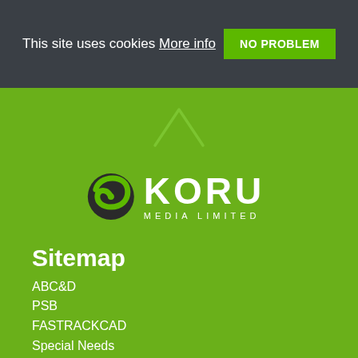This site uses cookies More info
NO PROBLEM
[Figure (logo): Koru Media Limited logo with spiral koru icon and white text on green background]
Sitemap
ABC&D
PSB
FASTRACKCAD
Special Needs